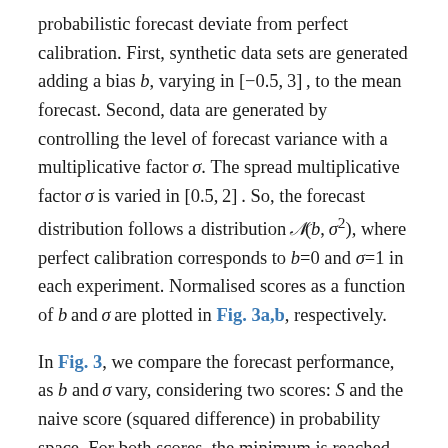probabilistic forecast deviate from perfect calibration. First, synthetic data sets are generated adding a bias b, varying in [−0.5, 3], to the mean forecast. Second, data are generated by controlling the level of forecast variance with a multiplicative factor σ. The spread multiplicative factor σ is varied in [0.5, 2]. So, the forecast distribution follows a distribution 𝒩(b, σ²), where perfect calibration corresponds to b=0 and σ=1 in each experiment. Normalised scores as a function of b and σ are plotted in Fig. 3a,b, respectively.
In Fig. 3, we compare the forecast performance, as b and σ vary, considering two scores: S and the naive score (squared difference) in probability space. For both scores, the minimum is reached when b=0. A